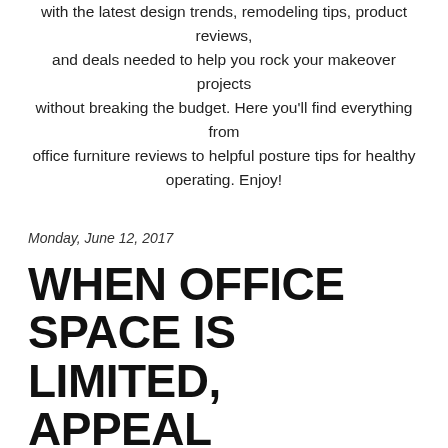with the latest design trends, remodeling tips, product reviews, and deals needed to help you rock your makeover projects without breaking the budget. Here you'll find everything from office furniture reviews to helpful posture tips for healthy operating. Enjoy!
Monday, June 12, 2017
WHEN OFFICE SPACE IS LIMITED, APPEAL DOESN'T HAVE TO BE!
Are you stuck dealing with a tiny office space? Have no fear